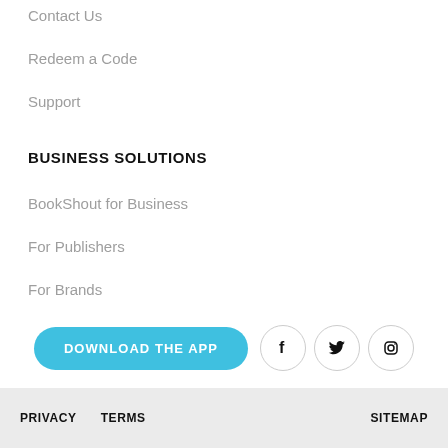Contact Us
Redeem a Code
Support
BUSINESS SOLUTIONS
BookShout for Business
For Publishers
For Brands
[Figure (other): Download the App button (light blue, pill-shaped) and three social media icon circles for Facebook, Twitter, and Instagram]
PRIVACY   TERMS   SITEMAP